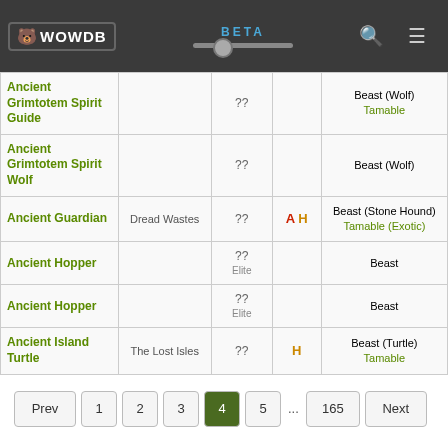WOWDB BETA
| Name | Zone | Level | Faction | Type |
| --- | --- | --- | --- | --- |
| Ancient Grimtotem Spirit Guide |  | ?? |  | Beast (Wolf) Tamable |
| Ancient Grimtotem Spirit Wolf |  | ?? |  | Beast (Wolf) |
| Ancient Guardian | Dread Wastes | ?? | A H | Beast (Stone Hound) Tamable (Exotic) |
| Ancient Hopper |  | ?? Elite |  | Beast |
| Ancient Hopper |  | ?? Elite |  | Beast |
| Ancient Island Turtle | The Lost Isles | ?? | H | Beast (Turtle) Tamable |
Prev 1 2 3 4 5 ... 165 Next